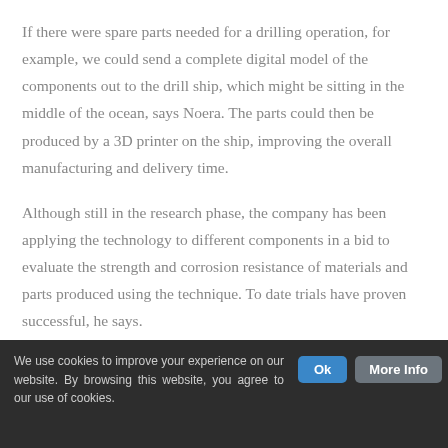If there were spare parts needed for a drilling operation, for example, we could send a complete digital model of the components out to the drill ship, which might be sitting in the middle of the ocean, says Noera. The parts could then be produced by a 3D printer on the ship, improving the overall manufacturing and delivery time.
Although still in the research phase, the company has been applying the technology to different components in a bid to evaluate the strength and corrosion resistance of materials and parts produced using the technique. To date trials have proven successful, he says.
We use cookies to improve your experience on our website. By browsing this website, you agree to our use of cookies.